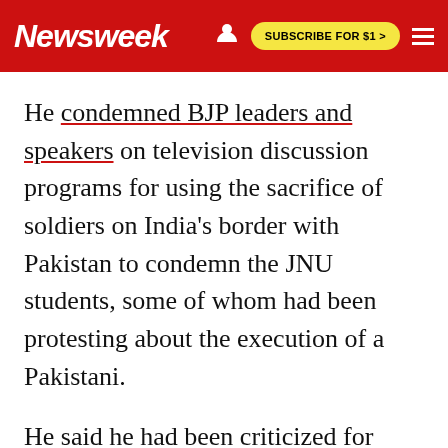Newsweek | SUBSCRIBE FOR $1 >
He condemned BJP leaders and speakers on television discussion programs for using the sacrifice of soldiers on India's border with Pakistan to condemn the JNU students, some of whom had been protesting about the execution of a Pakistani.
He said he had been criticized for using the word azadi, or independence, and asked whom he wanted independence from because